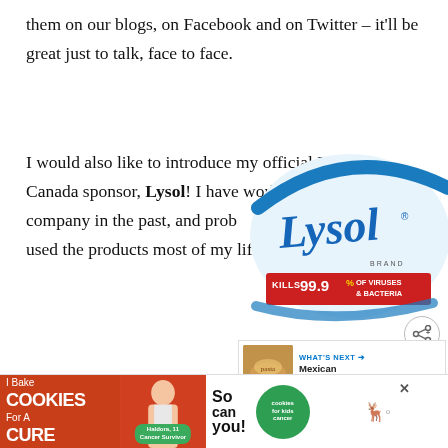them on our blogs, on Facebook and on Twitter – it'll be great just to talk, face to face.
I would also like to introduce my official Blissdom Canada sponsor, Lysol! I have worked with this company in the past, and prob used the products most of my life – so I think it
[Figure (logo): Lysol brand product label showing the Lysol logo in blue script, with 'KILLS 99.9% OF VIRUSES & BACTERIA' text on a red banner, and a share icon]
[Figure (infographic): WHAT'S NEXT arrow, thumbnail of food, text 'Mexican Macaroni...']
[Figure (infographic): Advertisement banner: 'I Bake COOKIES For A CURE' with a person photo, Haldora 11 Cancer Survivor label, 'So can you!' text, cookies for kids cancer logo, and moose icon]